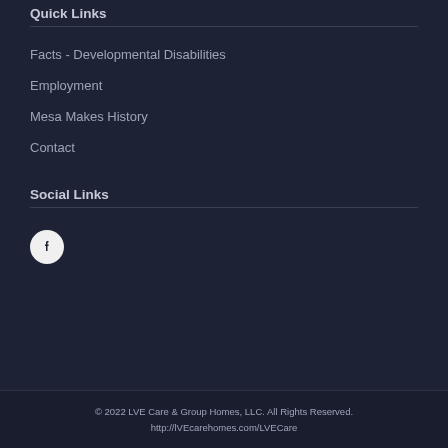Quick Links
Facts - Developmental Disabilities
Employment
Mesa Makes History
Contact
Social Links
[Figure (illustration): Facebook social media icon — white 'f' on a light gray/white circular background]
© 2022 LVE Care & Group Homes, LLC. All Rights Reserved.
http://lVEcarehomes.com/LVECare